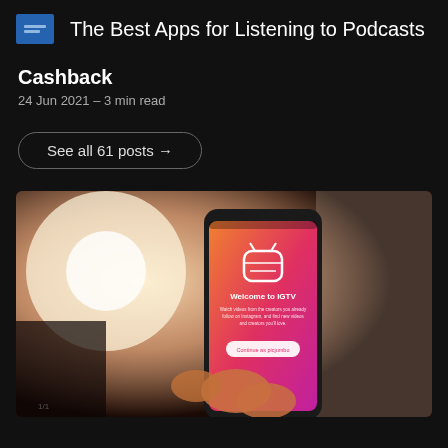The Best Apps for Listening to Podcasts
Cashback
24 Jun 2021 – 3 min read
See all 61 posts →
[Figure (photo): A hand holding a smartphone displaying the IGTV app welcome screen with gradient pink/orange background. Screen shows 'Welcome to IGTV' text and 'Continue as picjumbo' button.]